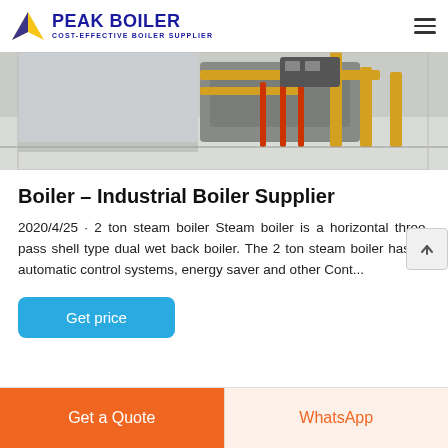PEAK BOILER COST-EFFECTIVE BOILER SUPPLIER
[Figure (photo): Industrial boiler room interior showing boiler equipment with yellow and red pipes/railings on a light grey floor]
Boiler – Industrial Boiler Supplier
2020/4/25 · 2 ton steam boiler Steam boiler is a horizontal three-pass shell type dual wet back boiler. The 2 ton steam boiler has an automatic control systems, energy saver and other Cont...
Get price
Get a Quote
WhatsApp